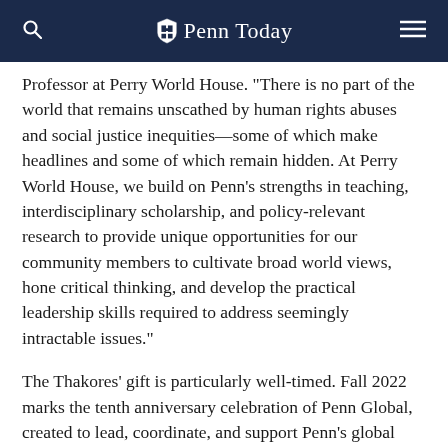Penn Today
Professor at Perry World House. "There is no part of the world that remains unscathed by human rights abuses and social justice inequities—some of which make headlines and some of which remain hidden. At Perry World House, we build on Penn's strengths in teaching, interdisciplinary scholarship, and policy-relevant research to provide unique opportunities for our community members to cultivate broad world views, hone critical thinking, and develop the practical leadership skills required to address seemingly intractable issues."
The Thakores' gift is particularly well-timed. Fall 2022 marks the tenth anniversary celebration of Penn Global, created to lead, coordinate, and support Penn's global